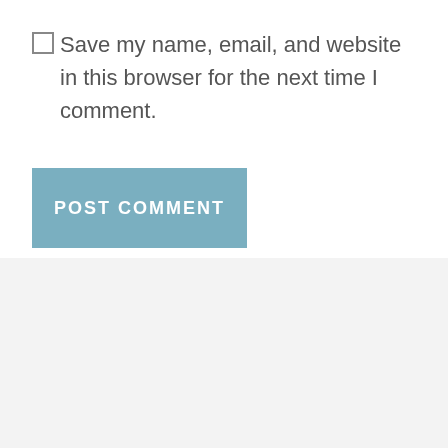Save my name, email, and website in this browser for the next time I comment.
POST COMMENT
[Figure (logo): Iowa House Democrats logo: a circular logo with a navy blue circle background, a red swoosh arc at the upper right, and a white bold letter D in the center.]
IOWA HOUSE